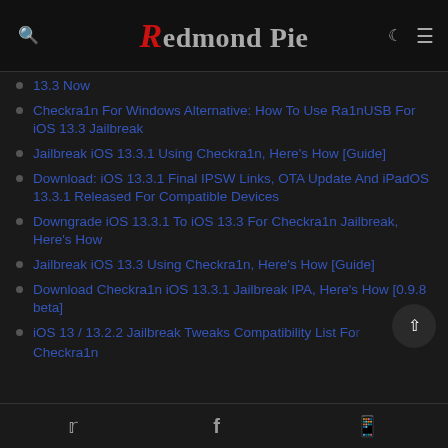Redmond Pie
13.3 Now
Checkra1n For Windows Alternative: How To Use Ra1nUSB For iOS 13.3 Jailbreak
Jailbreak iOS 13.3.1 Using Checkra1n, Here's How [Guide]
Download: iOS 13.3.1 Final IPSW Links, OTA Update And iPadOS 13.3.1 Released For Compatible Devices
Downgrade iOS 13.3.1 To iOS 13.3 For Checkra1n Jailbreak, Here's How
Jailbreak iOS 13.3 Using Checkra1n, Here's How [Guide]
Download Checkra1n iOS 13.3.1 Jailbreak IPA, Here's How [0.9.8 beta]
iOS 13 / 13.2.2 Jailbreak Tweaks Compatibility List For Checkra1n
Twitter | Facebook | WhatsApp